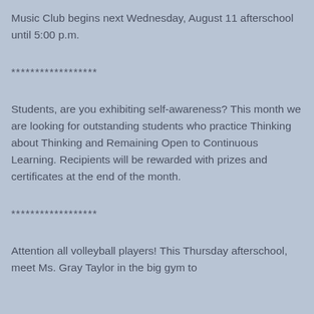Music Club begins next Wednesday, August 11 afterschool until 5:00 p.m.
******************
Students, are you exhibiting self-awareness? This month we are looking for outstanding students who practice Thinking about Thinking and Remaining Open to Continuous Learning. Recipients will be rewarded with prizes and certificates at the end of the month.
******************
Attention all volleyball players! This Thursday afterschool, meet Ms. Gray Taylor in the big gym to